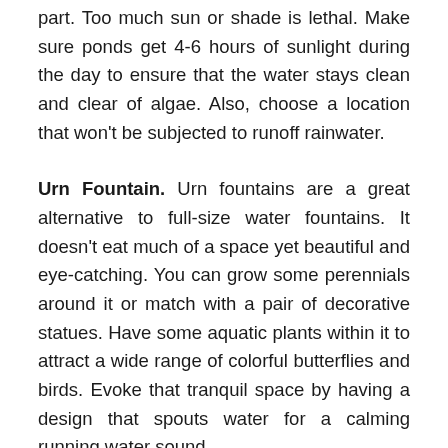part. Too much sun or shade is lethal. Make sure ponds get 4-6 hours of sunlight during the day to ensure that the water stays clean and clear of algae. Also, choose a location that won't be subjected to runoff rainwater.
Urn Fountain. Urn fountains are a great alternative to full-size water fountains. It doesn't eat much of a space yet beautiful and eye-catching. You can grow some perennials around it or match with a pair of decorative statues. Have some aquatic plants within it to attract a wide range of colorful butterflies and birds. Evoke that tranquil space by having a design that spouts water for a calming running water sound.